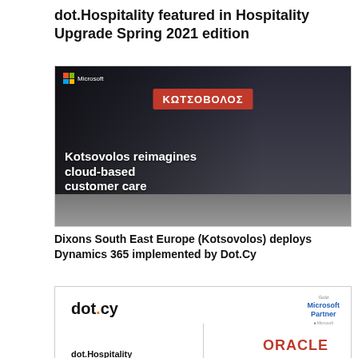dot.Hospitality featured in Hospitality Upgrade Spring 2021 edition
[Figure (photo): Microsoft-branded image showing Kotsovolos electronics store interior with text overlay 'Kotsovolos reimagines cloud-based customer care']
Dixons South East Europe (Kotsovolos) deploys Dynamics 365 implemented by Dot.Cy
[Figure (logo): dot.cy logo with Gold Microsoft Partner badge on the left, ORACLE logo and dot.Hospitality text on the right]